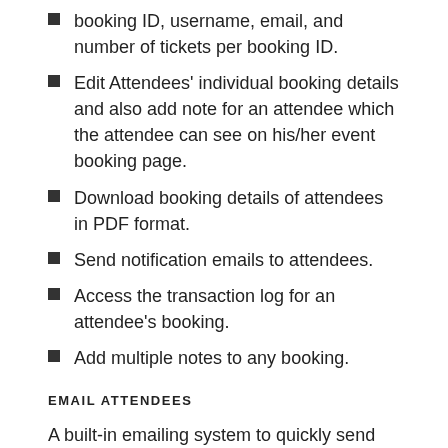booking ID, username, email, and number of tickets per booking ID.
Edit Attendees' individual booking details and also add note for an attendee which the attendee can see on his/her event booking page.
Download booking details of attendees in PDF format.
Send notification emails to attendees.
Access the transaction log for an attendee's booking.
Add multiple notes to any booking.
EMAIL ATTENDEES
A built-in emailing system to quickly send emails to specific attendees or all attendees from a specific event.
Manually specific attendees.